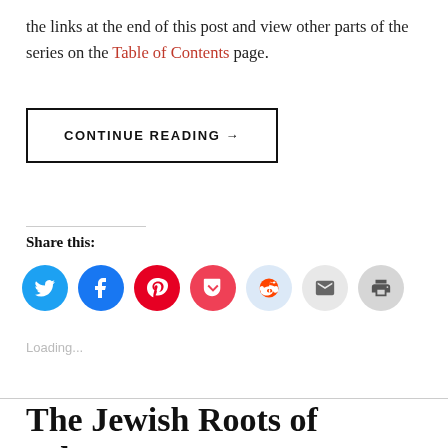the links at the end of this post and view other parts of the series on the Table of Contents page.
CONTINUE READING →
Share this:
[Figure (infographic): Row of social share icon circles: Twitter (blue), Facebook (blue), Pinterest (red), Pocket (red), Reddit (light blue), Email (grey), Print (grey)]
Loading...
The Jewish Roots of Advent